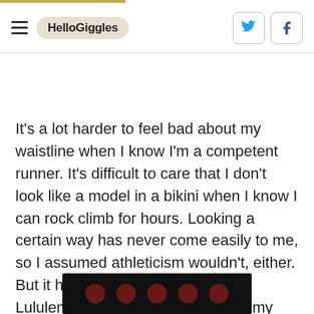HelloGiggles
It's a lot harder to feel bad about my waistline when I know I'm a competent runner. It's difficult to care that I don't look like a model in a bikini when I know I can rock climb for hours. Looking a certain way has never come easily to me, so I assumed athleticism wouldn't, either. But it has. I am an athlete, even if Lululemon doesn't carry clothes in my size.
[Figure (photo): Partial image at bottom of page showing dark background with dark red circular dots/bokeh shapes]